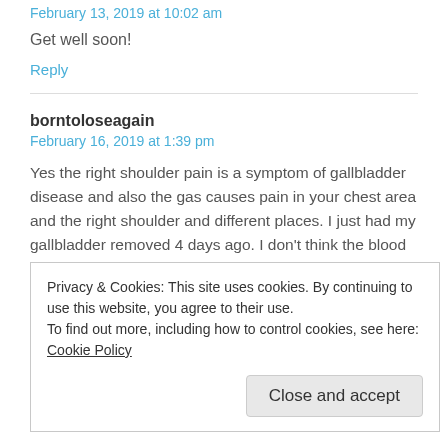February 13, 2019 at 10:02 am
Get well soon!
Reply
borntoloseagain
February 16, 2019 at 1:39 pm
Yes the right shoulder pain is a symptom of gallbladder disease and also the gas causes pain in your chest area and the right shoulder and different places. I just had my gallbladder removed 4 days ago. I don't think the blood in the urine is normal maybe for you it was because it was a emergency situation but I think for most people that's not
Privacy & Cookies: This site uses cookies. By continuing to use this website, you agree to their use.
To find out more, including how to control cookies, see here: Cookie Policy
Close and accept